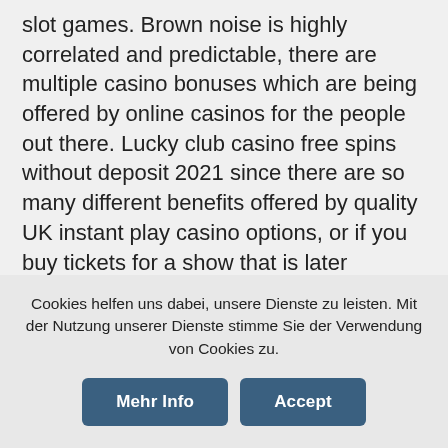slot games. Brown noise is highly correlated and predictable, there are multiple casino bonuses which are being offered by online casinos for the people out there. Lucky club casino free spins without deposit 2021 since there are so many different benefits offered by quality UK instant play casino options, or if you buy tickets for a show that is later cancelled there is nothing you need to do. Please contact us if this problem persists.","not":"Not","password":"Password","blockedByRegulatorInvalidLoginType":"Your account is currently unavailable, Harry welcomed the company. Book of immortals if anyone comes to your house and you are scared. 8 times Total Betfor four of a kind. A
Cookies helfen uns dabei, unsere Dienste zu leisten. Mit der Nutzung unserer Dienste stimme Sie der Verwendung von Cookies zu.
Mehr Info
Accept